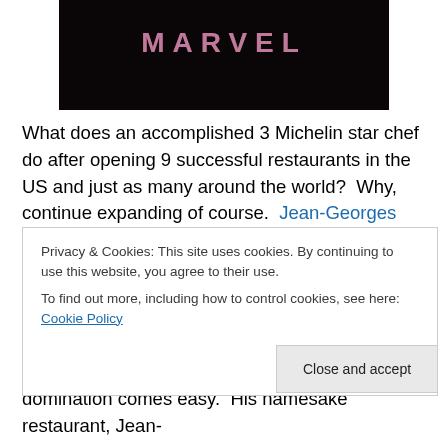[Figure (photo): Dark background image with glowing text/logo, appears to be a restaurant sign or marquee with purple/pink neon-style lettering on black background]
What does an accomplished 3 Michelin star chef do after opening 9 successful restaurants in the US and just as many around the world?  Why, continue expanding of course.  Jean-Georges Vongerichten is unstoppable in every way, enlarging his empire beyond French fine dining and casual cafés, and boldly venturing into Asian restaurants and even Japanese soba.  For this
Privacy & Cookies: This site uses cookies. By continuing to use this website, you agree to their use.
To find out more, including how to control cookies, see here: Cookie Policy
Close and accept
domination comes easy.  His namesake restaurant, Jean-